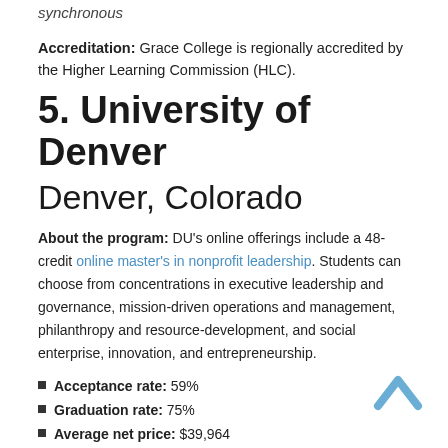synchronous
Accreditation: Grace College is regionally accredited by the Higher Learning Commission (HLC).
5. University of Denver
Denver, Colorado
About the program: DU's online offerings include a 48-credit online master's in nonprofit leadership. Students can choose from concentrations in executive leadership and governance, mission-driven operations and management, philanthropy and resource-development, and social enterprise, innovation, and entrepreneurship.
Acceptance rate: 59%
Graduation rate: 75%
Average net price: $39,964